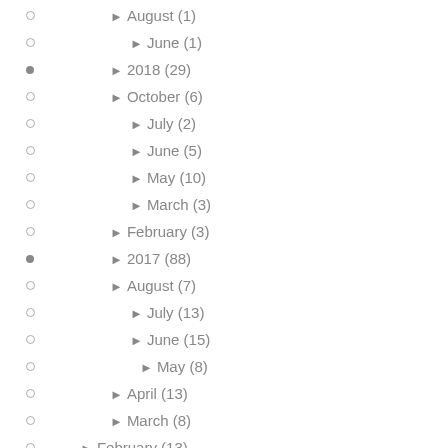▶ August (1)
▶ June (1)
▶ 2018 (29)
▶ October (6)
▶ July (2)
▶ June (5)
▶ May (10)
▶ March (3)
▶ February (3)
▶ 2017 (88)
▶ August (7)
▶ July (13)
▶ June (15)
▶ May (8)
▶ April (13)
▶ March (8)
▶ February (13)
▶ January (11)
▶ 2016 (124)